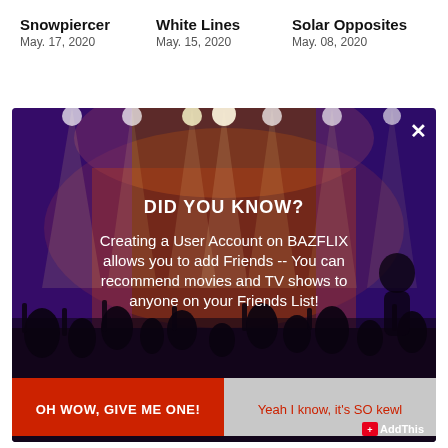Snowpiercer
May. 17, 2020
White Lines
May. 15, 2020
Solar Opposites
May. 08, 2020
[Figure (screenshot): A modal popup overlay on a concert/event photo background with purple and red stage lighting and crowd silhouettes. The modal contains the text 'DID YOU KNOW?' followed by 'Creating a User Account on BAZFLIX allows you to add Friends -- You can recommend movies and TV shows to anyone on your Friends List!' with two buttons: 'OH WOW, GIVE ME ONE!' (red) and 'Yeah I know, it's SO kewl' (gray). An X close button is in the top right. An AddThis badge is in the bottom right corner.]